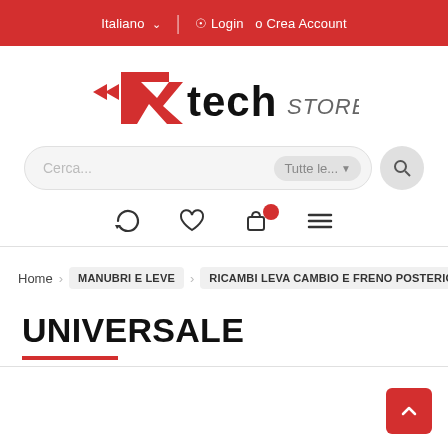Italiano ∨ | Login o Crea Account
[Figure (logo): R-Tech Store logo — stylized red R-Tech wordmark with STORE in grey italic]
Cerca... Tutte le...
Icons: refresh, heart, cart (with red badge), menu
Home › MANUBRI E LEVE › RICAMBI LEVA CAMBIO E FRENO POSTERIORE ›
UNIVERSALE